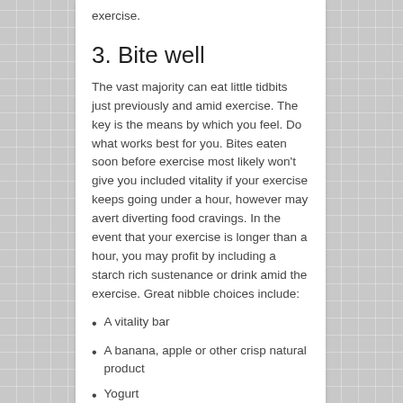exercise.
3.  Bite well
The vast majority can eat little tidbits just previously and amid exercise. The key is the means by which you feel. Do what works best for you. Bites eaten soon before exercise most likely won't give you included vitality if your exercise keeps going under a hour, however may avert diverting food cravings. In the event that your exercise is longer than a hour, you may profit by including a starch rich sustenance or drink amid the exercise. Great nibble choices include:
A vitality bar
A banana, apple or other crisp natural product
Yogurt
Natural product smoothie